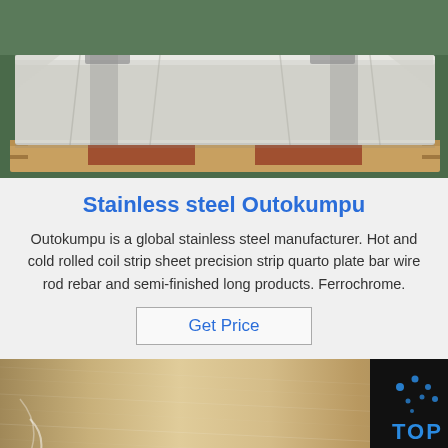[Figure (photo): Stainless steel sheets wrapped in plastic film on a wooden pallet in an industrial warehouse]
Stainless steel Outokumpu
Outokumpu is a global stainless steel manufacturer. Hot and cold rolled coil strip sheet precision strip quarto plate bar wire rod rebar and semi-finished long products. Ferrochrome.
Get Price
[Figure (photo): Brushed stainless steel sheet surface with a TOP watermark logo in the bottom right corner]